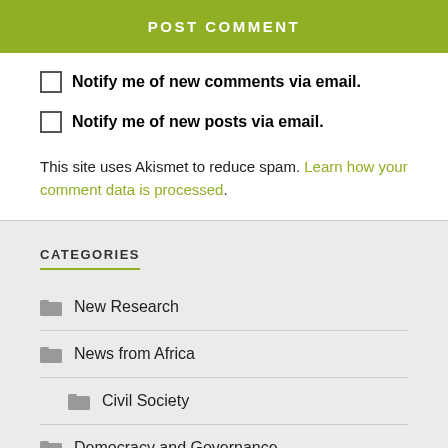POST COMMENT
Notify me of new comments via email.
Notify me of new posts via email.
This site uses Akismet to reduce spam. Learn how your comment data is processed.
CATEGORIES
New Research
News from Africa
Civil Society
Democracy and Governance